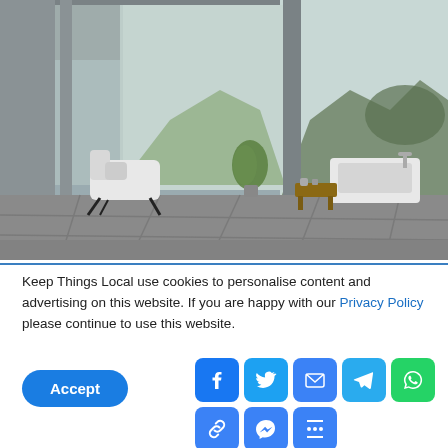[Figure (photo): Modern minimalist interior room with large floor-to-ceiling windows, grey concrete tile flooring, a white lounge chair, a white bathtub, a small wooden side table, and a potted plant. Mountain/forest view visible through windows.]
Keep Things Local use cookies to personalise content and advertising on this website. If you are happy with our Privacy Policy please continue to use this website.
[Figure (infographic): Row of social share icon buttons: Facebook (blue), Twitter (blue), Email (blue), Telegram (blue), WhatsApp (green), Link/Copy (blue), Messenger (blue), More/Share (blue). Plus an Accept button (blue rounded pill).]